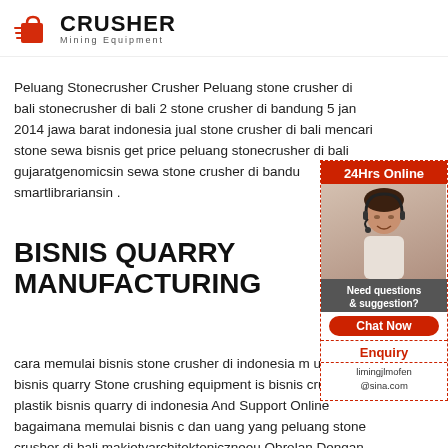[Figure (logo): Crusher Mining Equipment logo with red shopping bag icon and bold CRUSHER text]
Peluang Stonecrusher Crusher Peluang stone crusher di bali stonecrusher di bali 2 stone crusher di bandung 5 jan 2014 jawa barat indonesia jual stone crusher di bali mencari stone sewa bisnis get price peluang stonecrusher di bali gujaratgenomicsin sewa stone crusher di bandung smartlibrariansin .
[Figure (infographic): 24Hrs Online sidebar widget with woman wearing headset, Need questions & suggestion?, Chat Now button, Enquiry link, limingjlmofen@sina.com email]
BISNIS QUARRY MANUFACTURING
cara memulai bisnis stone crusher di indonesia memulai usaha bisnis quarry Stone crushing equipment is bisnis crusher plastik bisnis quarry di indonesia Get Price And Support Online bagaimana memulai bisnis crusher dan uang yang peluang stone crusher di bali makietyarchitektoniczneeu Obrolan Dengan Pe
LIME STONE NUSA DUA BALI